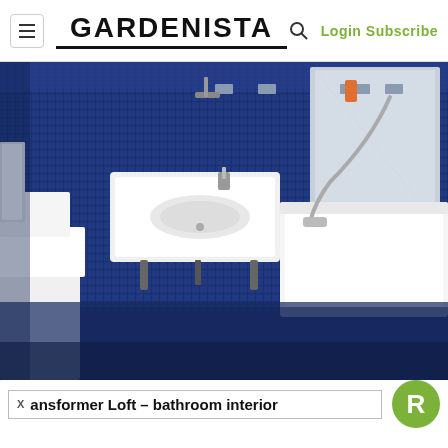GARDENISTA — Login Subscribe
[Figure (photo): Bathroom interior with dark navy blue mosaic tiles covering walls and floor, white floating rectangular sink, white bathtub on the right, toilet partially visible on the left, shower handset with hose visible on the back wall, mirror reflecting the space.]
ansformer Loft – bathroom interior